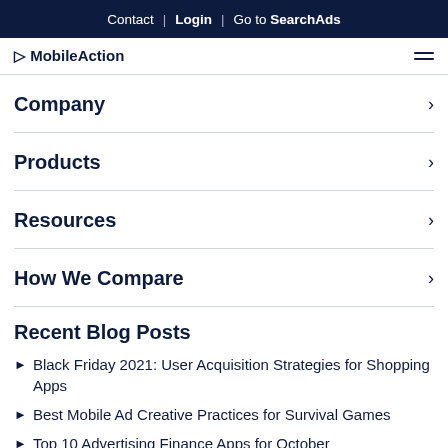Contact | Login | Go to SearchAds
MobileAction
Company
Products
Resources
How We Compare
Recent Blog Posts
Black Friday 2021: User Acquisition Strategies for Shopping Apps
Best Mobile Ad Creative Practices for Survival Games
Top 10 Advertising Finance Apps for October